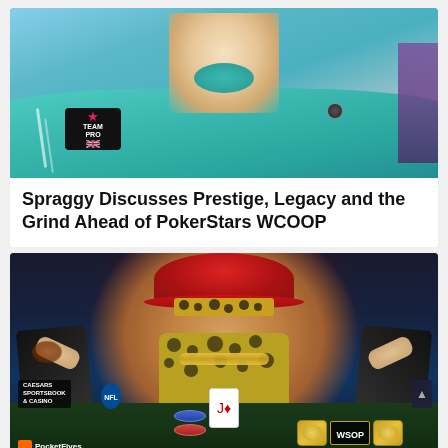[Figure (photo): Man wearing teal/turquoise turtleneck tracksuit with PokerStars Team Pro UK badge, photographed at a poker event]
Spraggy Discusses Prestige, Legacy and the Grind Ahead of PokerStars WCOOP
[Figure (photo): Man in flamboyant costume - red hat with leopard print headband, yellow leopard print vest, black cape, gold chain, posing at WSOP poker table with cards and chips, CAESARS SPORTSBOOK & CASINO banner visible, NSOP belt trophy in foreground, PocketFives logo in corner]